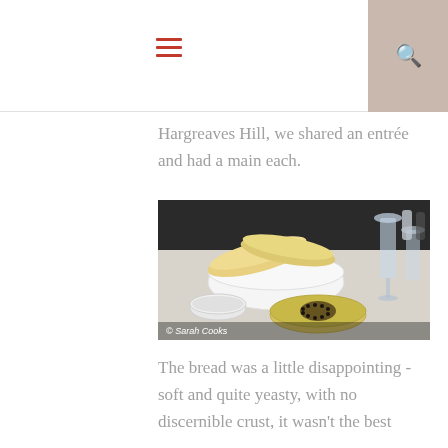[hamburger menu icon] [search icon]
Hargreaves Hill, we shared an entrée and had a main each.
[Figure (photo): Photo of bread rolls in a white bowl on a restaurant table, with small dishes of salt and olive oil with pepper pattern. Watermark: © Sarah Cooks]
The bread was a little disappointing - soft and quite yeasty, with no discernible crust, it wasn't the best